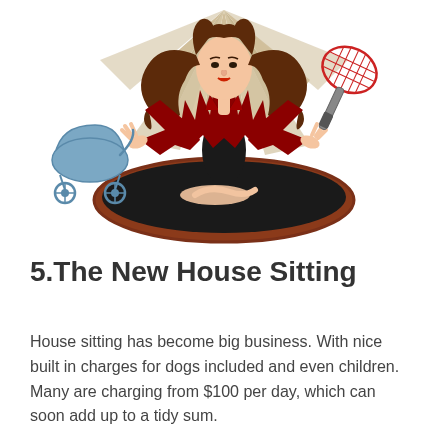[Figure (illustration): Vintage-style illustration of a woman in a red top with wild hair and arms spread wide, surrounded by lightning bolt shapes. A baby carriage is on the left and a badminton racket on the right. The woman is emerging from or sitting in a brown oval tub/pool with black interior.]
5.The New House Sitting
House sitting has become big business. With nice built in charges for dogs included and even children. Many are charging from $100 per day, which can soon add up to a tidy sum.